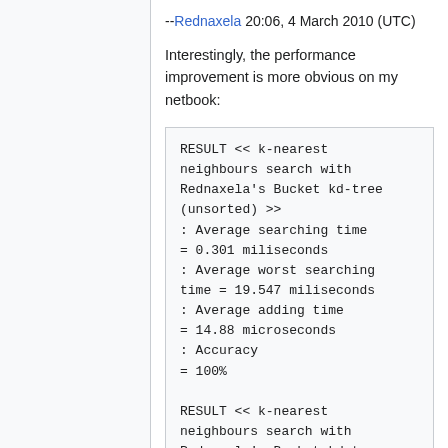--Rednaxela 20:06, 4 March 2010 (UTC)
Interestingly, the performance improvement is more obvious on my netbook:
RESULT << k-nearest neighbours search with Rednaxela's Bucket kd-tree (unsorted) >>
: Average searching time = 0.301 miliseconds
: Average worst searching time = 19.547 miliseconds
: Average adding time = 14.88 microseconds
: Accuracy
= 100%

RESULT << k-nearest neighbours search with Rednaxela's Bucket kd-tree (sorted) >>